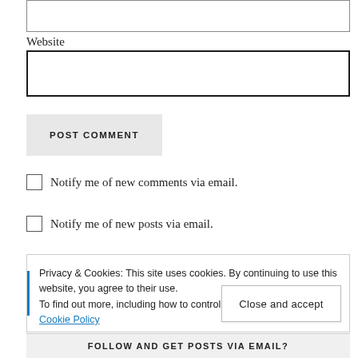[Figure (screenshot): Top portion of a web comment form showing an empty input box (cropped at top)]
Website
[Figure (screenshot): Website input text field, empty, with thick dark border]
POST COMMENT
Notify me of new comments via email.
Notify me of new posts via email.
Privacy & Cookies: This site uses cookies. By continuing to use this website, you agree to their use.
To find out more, including how to control cookies, see here: Our Cookie Policy
Close and accept
FOLLOW AND GET POSTS VIA EMAIL?